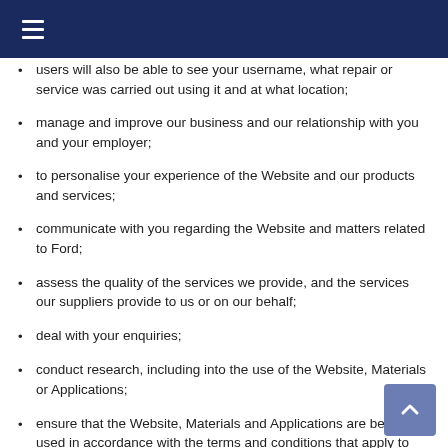users will also be able to see your username, what repair or service was carried out using it and at what location;
manage and improve our business and our relationship with you and your employer;
to personalise your experience of the Website and our products and services;
communicate with you regarding the Website and matters related to Ford;
assess the quality of the services we provide, and the services our suppliers provide to us or on our behalf;
deal with your enquiries;
conduct research, including into the use of the Website, Materials or Applications;
ensure that the Website, Materials and Applications are being used in accordance with the terms and conditions that apply to them; and
comply with our legal and regulatory responsibilities; to respond to legal process or requests for information issued by government authorities or other third parties; and to prevent and detect crime or fraud, or security,